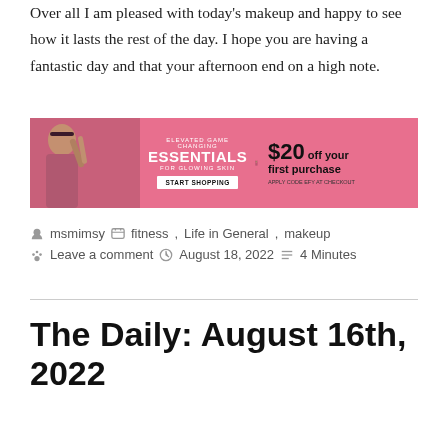Over all I am pleased with today's makeup and happy to see how it lasts the rest of the day. I hope you are having a fantastic day and that your afternoon end on a high note.
[Figure (infographic): Pink advertisement banner for beauty essentials. Left side shows a woman with makeup brushes. Center text: ELEVATED GAME CHANGING ESSENTIALS FOR GLOWING SKIN START SHOPPING. Right side: $20 off your first purchase APPLY CODE EFY AT CHECKOUT]
msmimsy   fitness, Life in General, makeup   Leave a comment   August 18, 2022   4 Minutes
The Daily: August 16th, 2022